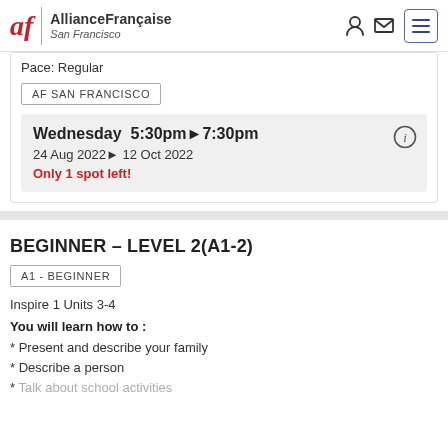[Figure (logo): Alliance Française San Francisco logo with red 'af' script and vertical divider]
Pace: Regular
AF SAN FRANCISCO
Wednesday  5:30pm▶7:30pm
24 Aug 2022▶12 Oct 2022
Only 1 spot left!
BEGINNER – LEVEL 2(A1-2)
A1 - BEGINNER
Inspire 1 Units 3-4
You will learn how to :
* Present and describe your family
* Describe a person